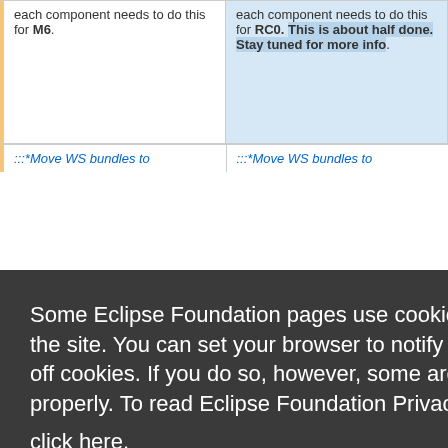each component needs to do this for M6.
each component needs to do this for RC0.  This is about half done.  Stay tuned for more info.
:::*Move WS bundles to
:::*Move WS bundles to
Some Eclipse Foundation pages use cookies to better serve you when you return to the site. You can set your browser to notify you before you receive a cookie or turn off cookies. If you do so, however, some areas of some sites may not function properly. To read Eclipse Foundation Privacy Policy
click here.
Decline
Allow cookies
Axis.  Other teams do